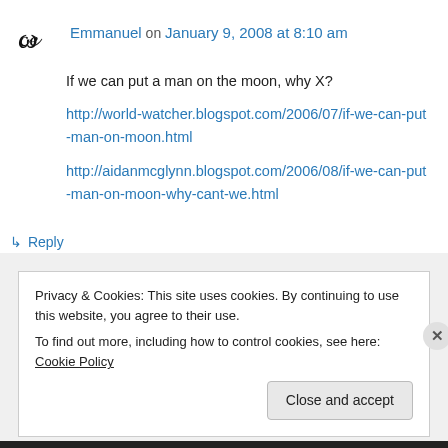Emmanuel on January 9, 2008 at 8:10 am
If we can put a man on the moon, why X?
http://world-watcher.blogspot.com/2006/07/if-we-can-put-man-on-moon.html
http://aidanmcglynn.blogspot.com/2006/08/if-we-can-put-man-on-moon-why-cant-we.html
↳ Reply
Privacy & Cookies: This site uses cookies. By continuing to use this website, you agree to their use.
To find out more, including how to control cookies, see here: Cookie Policy
Close and accept